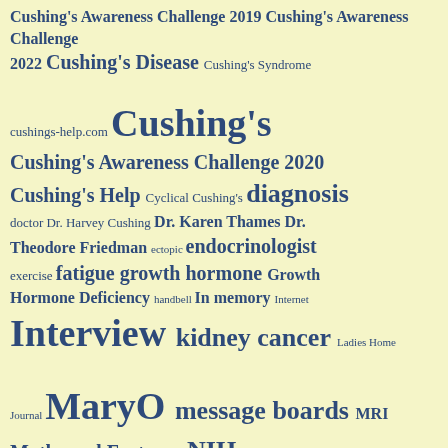[Figure (infographic): Tag cloud related to Cushing's disease medical topics, displayed on a pale yellow background in shades of blue. Tags vary in size indicating frequency/importance. Tags include: Cushing's Awareness Challenge 2019, Cushing's Awareness Challenge 2022, Cushing's Disease, Cushing's Syndrome, cushings-help.com, Cushing's, Cushing's Awareness Challenge 2020, Cushing's Help, Cyclical Cushing's, diagnosis, doctor, Dr. Harvey Cushing, Dr. Karen Thames, Dr. Theodore Friedman, ectopic, endocrinologist, exercise, fatigue, growth hormone, Growth Hormone Deficiency, handbell, In memory, Internet, Interview, kidney cancer, Ladies Home Journal, MaryO, message boards, MRI, Myths and Facts, nap, NIH, Patient, Pituitary, pituitary gland, pituitary surgery, Power Surge, remission, renal cell carcinoma, sleep, steroids, stretch marks, surgery, SuziQ, symptoms]